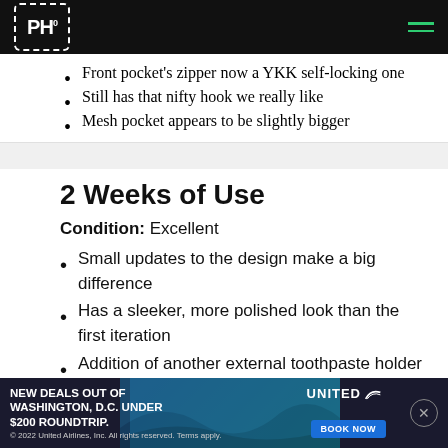PH (logo navigation bar)
Front pocket's zipper now a YKK self-locking one
Still has that nifty hook we really like
Mesh pocket appears to be slightly bigger
2 Weeks of Use
Condition: Excellent
Small updates to the design make a big difference
Has a sleeker, more polished look than the first iteration
Addition of another external toothpaste holder comes in handy for sharing Dopp Kit space or in small bathrooms
[Figure (other): United Airlines advertisement banner: NEW DEALS OUT OF WASHINGTON, D.C. UNDER $200 ROUNDTRIP. BOOK NOW.]